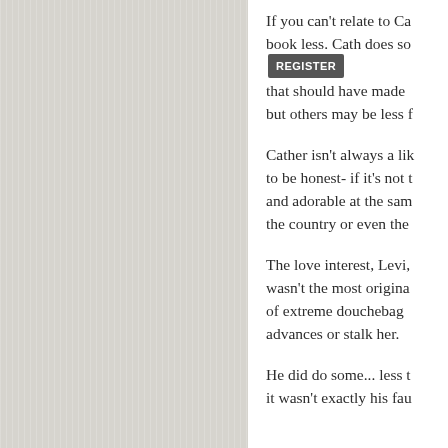If you can't relate to Ca... book less. Cain does so... that should have made ... but others may be less f...
Cather isn't always a lik... to be honest- if it's not t... and adorable at the sam... the country or even the...
The love interest, Levi, ... wasn't the most origina... of extreme douchebag... advances or stalk her.
He did do some... less t... it wasn't exactly his fau...